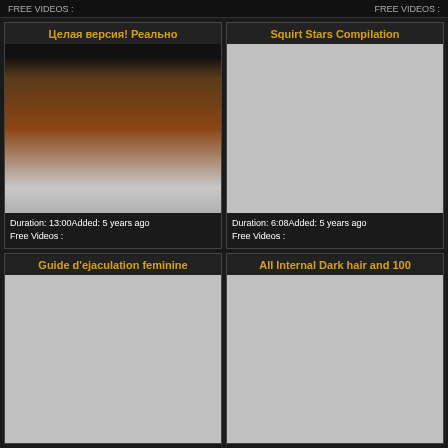FREE VIDEOS :   FREE VIDEOS :
Целая версия! Реально
[Figure (photo): Video thumbnail image]
Duration: 13:00Added: 5 years ago
Free Videos :
Squirt Stars Compilation
[Figure (photo): Gray placeholder thumbnail]
Duration: 6:08Added: 5 years ago
Free Videos :
Guide d'ejaculation feminine
[Figure (photo): Gray placeholder thumbnail]
All Internal Dark hair and 100
[Figure (photo): Gray placeholder thumbnail]